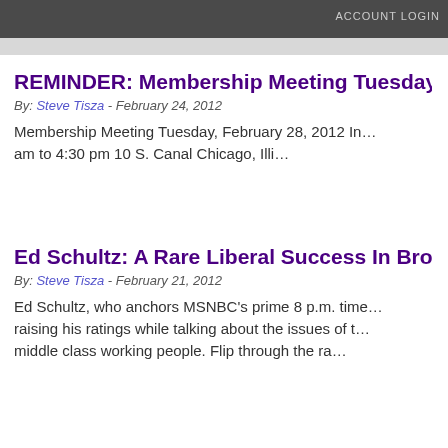ACCOUNT LOGIN
REMINDER: Membership Meeting Tuesday, Februa...
By: Steve Tisza - February 24, 2012
Membership Meeting Tuesday, February 28, 2012 In... am to 4:30 pm 10 S. Canal Chicago, Illi...
Ed Schultz: A Rare Liberal Success In Broadcasting
By: Steve Tisza - February 21, 2012
Ed Schultz, who anchors MSNBC's prime 8 p.m. time... raising his ratings while talking about the issues of the middle class working people. Flip through the ra...
America?s Last Hope: A Strong Labor Movement
By: Steve Tisza - February 20, 2012
The complete collapse of unions would have devast... consequences. The labor movement has played a c...